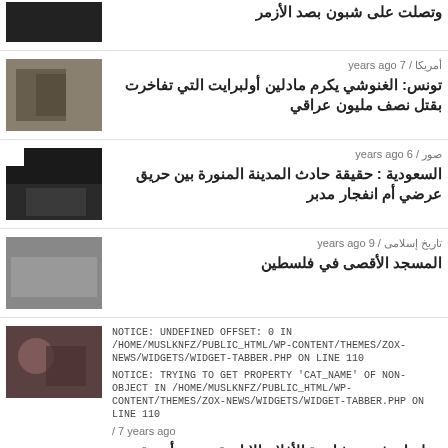[Figure (photo): Partial thumbnail at top, dark image]
وتصلت على شبون بصد الأزمر
[Figure (photo): Photo of people indoors, group shot]
أمريكا / 7 years ago
تونس: الغنوشي يكرم مادلين أولبرايت التي تفاخرت بقتل نصف مليون عراقي
[Figure (photo): Dark image with flag-like elements]
صور / 6 years ago
السعودية : حقيقة حادث المدينة المنورة بين حريق عرضي أم انفجار مدبر
[Figure (photo): Aerial photo of large building/mosque]
تاريخ إسلامى / 9 years ago
المسجد الأقصى في فلسطين
[Figure (photo): Photo of woman with child]
NOTICE: UNDEFINED OFFSET: 0 IN /HOME/MUSLKNFZ/PUBLIC_HTML/WP-CONTENT/THEMES/ZOX-NEWS/WIDGETS/WIDGET-TABBER.PHP ON LINE 110
NOTICE: TRYING TO GET PROPERTY 'CAT_NAME' OF NON-OBJECT IN /HOME/MUSLKNFZ/PUBLIC_HTML/WP-CONTENT/THEMES/ZOX-NEWS/WIDGETS/WIDGET-TABBER.PHP ON LINE 110
/ 7 years ago
هولندا: رفض مشاهدة الأفلام الإباحية يودي بأسرة مسلمة للضرب والإعتقال